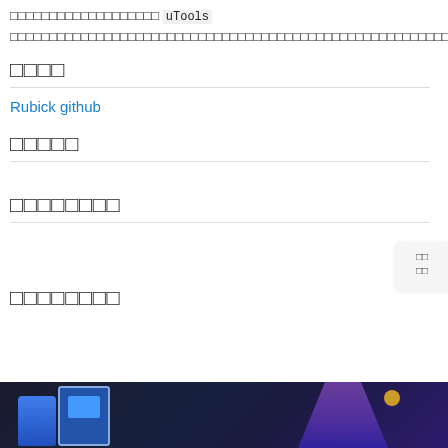□□□□□□□□□□□□□□□□□□□ uTools □□□□□□□□□□□□□□□□□□□□□□□□□□□□□□□□□□□□□□□□□□□□□□□□□□□□□□□□□□□□□□□□□□□□□□□□□□□□□□□□□□□□□□□□□□□□□
□□□□
Rubick github
□□□□□
□□□□□□□□
□□□□□□□□
[Figure (photo): Dark background image showing a card UI element and a stylized purple figure character with a gold accent, resembling a game or app screenshot.]